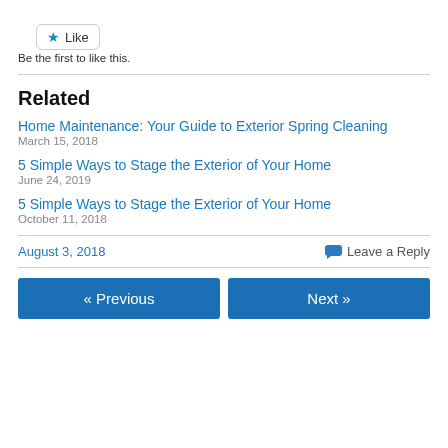[Figure (other): Like button with star icon]
Be the first to like this.
Related
Home Maintenance: Your Guide to Exterior Spring Cleaning
March 15, 2018
5 Simple Ways to Stage the Exterior of Your Home
June 24, 2019
5 Simple Ways to Stage the Exterior of Your Home
October 11, 2018
August 3, 2018
Leave a Reply
« Previous
Next »